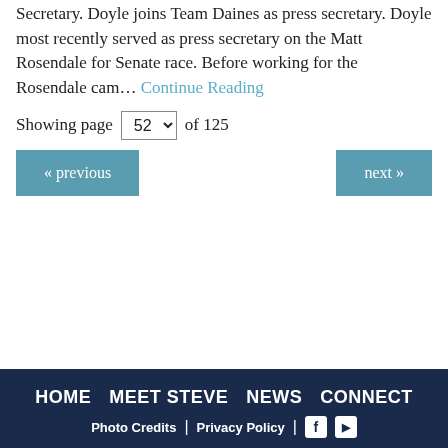Secretary. Doyle joins Team Daines as press secretary. Doyle most recently served as press secretary on the Matt Rosendale for Senate race. Before working for the Rosendale cam… Continue Reading
Showing page 52 of 125
« previous
next »
HOME  MEET STEVE  NEWS  CONNECT  Photo Credits | Privacy Policy | f [youtube]